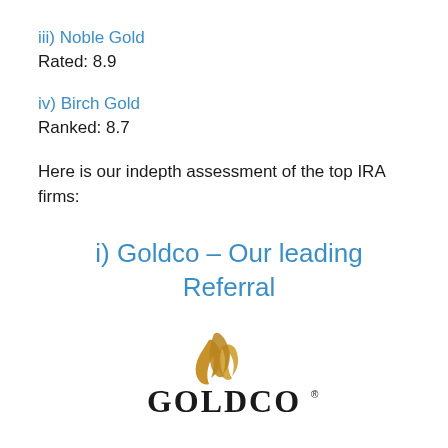iii) Noble Gold
Rated: 8.9
iv) Birch Gold
Ranked: 8.7
Here is our indepth assessment of the top IRA firms:
i) Goldco – Our leading Referral
[Figure (logo): Goldco logo with golden flame/leaf graphic above the text GOLDCO in bold black serif font with registered trademark symbol]